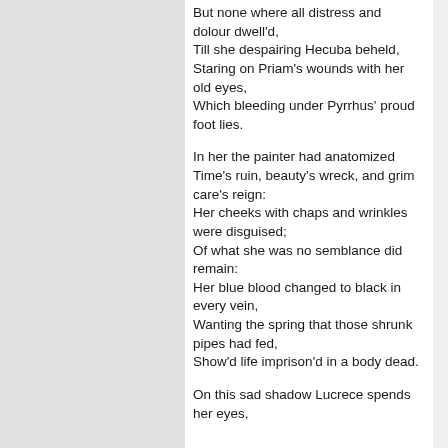But none where all distress and dolour dwell'd,
Till she despairing Hecuba beheld,
Staring on Priam's wounds with her old eyes,
Which bleeding under Pyrrhus' proud foot lies.

In her the painter had anatomized
Time's ruin, beauty's wreck, and grim care's reign:
Her cheeks with chaps and wrinkles were disguised;
Of what she was no semblance did remain:
Her blue blood changed to black in every vein,
Wanting the spring that those shrunk pipes had fed,
Show'd life imprison'd in a body dead.

On this sad shadow Lucrece spends her eyes,